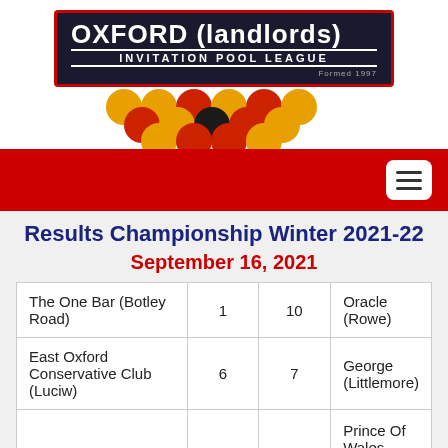[Figure (logo): Oxford (landlords) Invitation Pool League logo with black background, red border, white text and pool balls]
Results Championship Winter 2021-22
September 16, 2021
| Team (Home) | Score Home | Score Away | Team (Away) |
| --- | --- | --- | --- |
| The One Bar (Botley Road) | 1 | 10 | Oracle (Rowe) |
| East Oxford Conservative Club (Luciw) | 6 | 7 | George (Littlemore) |
|  |  |  | Prince Of Wales |